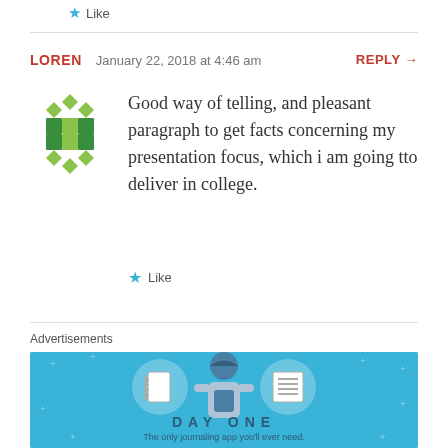Like
LOREN   January 22, 2018 at 4:46 am   REPLY →
Good way of telling, and pleasant paragraph to get facts concerning my presentation focus, which i am going tto deliver in college.
Like
Advertisements
[Figure (illustration): Day One journaling app advertisement with blue background, showing a person figure holding a phone, flanked by notebook and list icons, with text 'DAY ONE' and 'The only journaling app you'll ever need.']